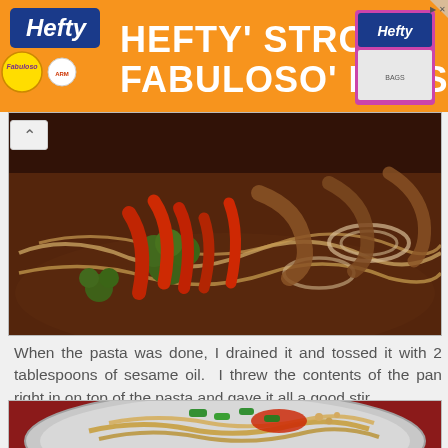[Figure (photo): Orange advertisement banner for Hefty and Fabuloso Fresh products]
[Figure (photo): Stir fry in a pan with red bell peppers, broccoli, onions, noodles, and chicken in a brown sauce]
When the pasta was done, I drained it and tossed it with 2 tablespoons of sesame oil.  I threw the contents of the pan right in on top of the pasta and gave it all a good stir.
[Figure (photo): Plate of noodles with green onions, red sauce, and peanuts on a silver plate]